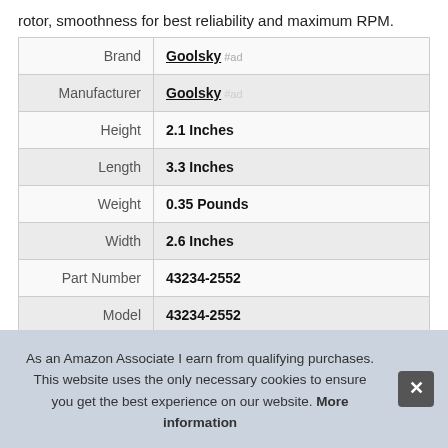rotor, smoothness for best reliability and maximum RPM.
| Attribute | Value |
| --- | --- |
| Brand | Goolsky #ad |
| Manufacturer | Goolsky #ad |
| Height | 2.1 Inches |
| Length | 3.3 Inches |
| Weight | 0.35 Pounds |
| Width | 2.6 Inches |
| Part Number | 43234-2552 |
| Model | 43234-2552 |
As an Amazon Associate I earn from qualifying purchases. This website uses the only necessary cookies to ensure you get the best experience on our website. More information